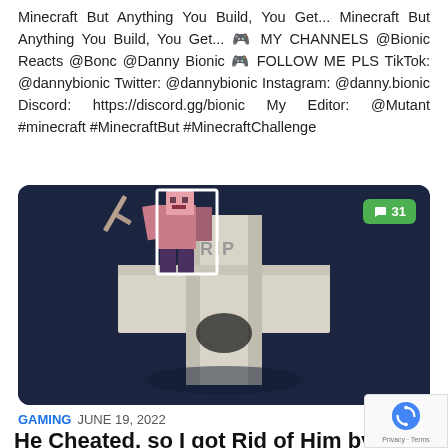Minecraft But Anything You Build, You Get... Minecraft But Anything You Build, You Get... 🎮 MY CHANNELS @BionicReacts @Bonc @Danny Bionic 🎮 FOLLOW ME PLS TikTok: @dannybionic Twitter: @dannybionic Instagram: @danny.bionic Discord: https://discord.gg/bionic My Editor: @Mutant #minecraft #MinecraftBut #MinecraftChallenge
[Figure (screenshot): Minecraft-style 3D render of a large white cross/gravestone with 'RIP' text on it, a Minecraft character sitting at the top, against a dark navy background. Comment count badge showing 31 in the top right corner.]
GAMING  JUNE 19, 2022
He Cheated, so I got Rid of Him by Using